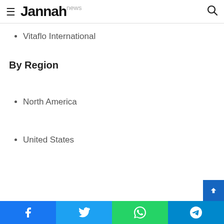Jannah news
Vitaflo International
By Region
North America
United States